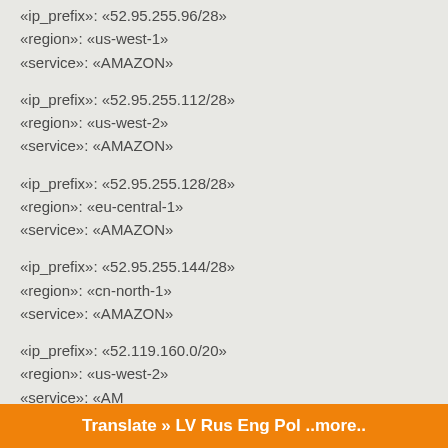«ip_prefix»: «52.95.255.96/28»
«region»: «us-west-1»
«service»: «AMAZON»
«ip_prefix»: «52.95.255.112/28»
«region»: «us-west-2»
«service»: «AMAZON»
«ip_prefix»: «52.95.255.128/28»
«region»: «eu-central-1»
«service»: «AMAZON»
«ip_prefix»: «52.95.255.144/28»
«region»: «cn-north-1»
«service»: «AMAZON»
«ip_prefix»: «52.119.160.0/20»
«region»: «us-west-2»
«service»: «AM…
Translate » LV Rus Eng Pol ..more..